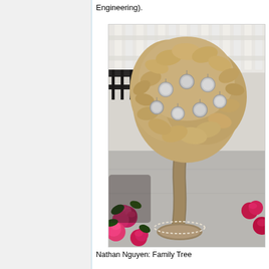Engineering).
[Figure (photo): Photo of a decorative laser-cut wooden family tree sculpture with photo frames/medallions hanging from branches, surrounded by pink roses and flowers, placed outdoors near a white fence.]
Nathan Nguyen: Family Tree